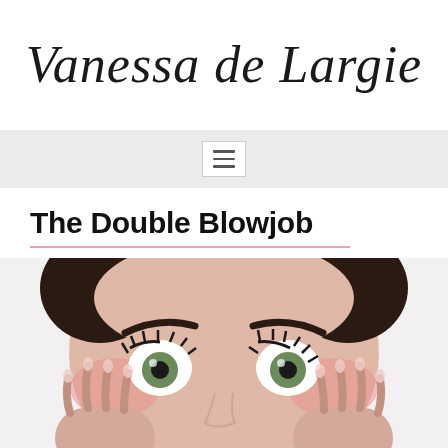Vanessa de Largie
[Figure (other): Navigation bar with hamburger/menu icon]
The Double Blowjob
[Figure (photo): Close-up photo of a woman with wide open green eyes, dark eyebrows, holding her face with both hands against a white/light grey background, expression of shock or surprise]